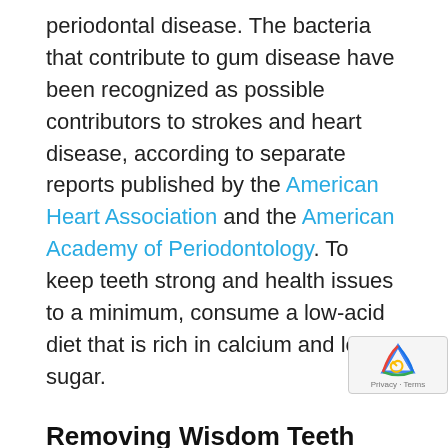periodontal disease. The bacteria that contribute to gum disease have been recognized as possible contributors to strokes and heart disease, according to separate reports published by the American Heart Association and the American Academy of Periodontology. To keep teeth strong and health issues to a minimum, consume a low-acid diet that is rich in calcium and low in sugar.
Removing Wisdom Teeth
Wisdom teeth usually erupt during the teens and early 20s and, in most cases, be removed between the ages of 13 and 2...